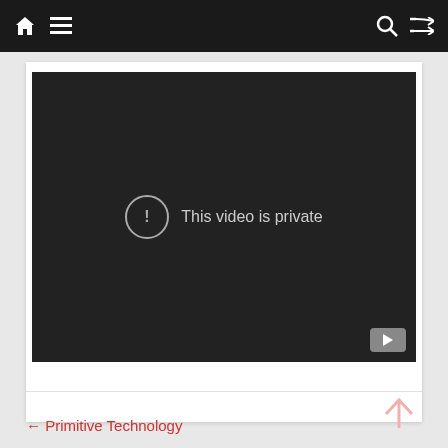Navigation bar with home, menu, search, and shuffle icons
[Figure (screenshot): Embedded YouTube video player showing 'This video is private' message with warning icon and YouTube logo button in bottom-right corner]
← Primitive Technology